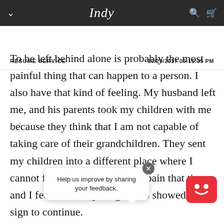Indy — RESUME SERVICE   10/29/2017 06:15:35 PM
To be left behind alone is probably the most painful thing that can happen to a person. I also have that kind of feeling. My husband left me, and his parents took my children with me because they think that I am not capable of taking care of their grandchildren. They sent my children into a different place where I cannot follow them. I was in a pain that time and I feel that everything w... Go... showed me a sign to continue.
Help us improve by sharing your feedback.